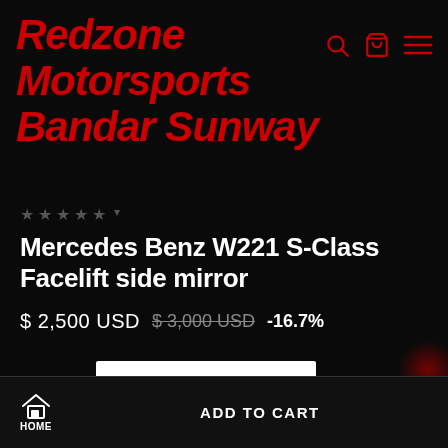Redzone Motorsports Bandar Sunway
Mercedes Benz W221 S-Class Facelift side mirror
$ 2,500 USD  $ 3,000 USD  -16.7%
Quantity  1
HOME  ADD TO CART